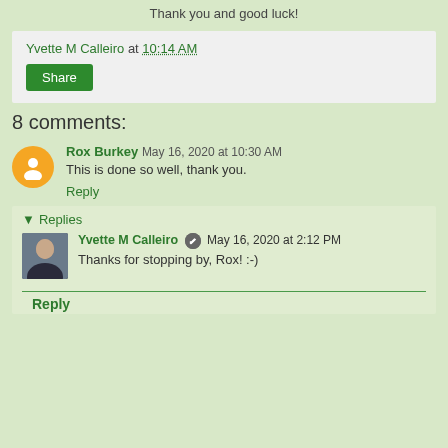Thank you and good luck!
Yvette M Calleiro at 10:14 AM
Share
8 comments:
Rox Burkey May 16, 2020 at 10:30 AM
This is done so well, thank you.
Reply
Replies
Yvette M Calleiro May 16, 2020 at 2:12 PM
Thanks for stopping by, Rox! :-)
Reply